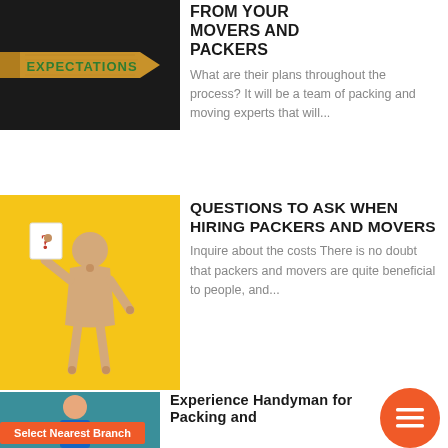[Figure (photo): Wooden arrow sign with 'EXPECTATIONS' text in green on dark background]
FROM YOUR MOVERS AND PACKERS
What are their plans throughout the process? It will be a team of packing and moving experts that will...
[Figure (photo): Wooden mannequin figure holding a question mark card on yellow background]
QUESTIONS TO ASK WHEN HIRING PACKERS AND MOVERS
Inquire about the costs There is no doubt that packers and movers are quite beneficial to people, and...
[Figure (photo): Partial photo of person with blue and orange items on teal background]
Experience Handyman for Packing and...